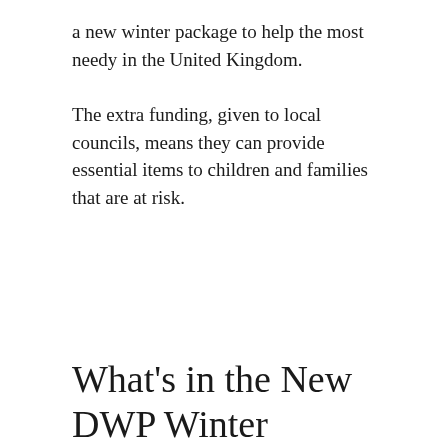a new winter package to help the most needy in the United Kingdom.
The extra funding, given to local councils, means they can provide essential items to children and families that are at risk.
What's in the New DWP Winter